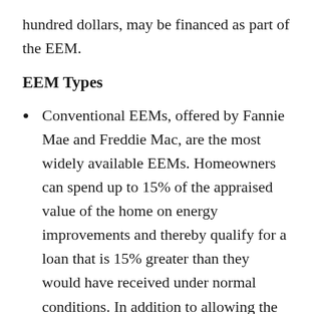hundred dollars, may be financed as part of the EEM.
EEM Types
Conventional EEMs, offered by Fannie Mae and Freddie Mac, are the most widely available EEMs. Homeowners can spend up to 15% of the appraised value of the home on energy improvements and thereby qualify for a loan that is 15% greater than they would have received under normal conditions. In addition to allowing the lender to increase the borrower's loan by a dollar amount equal to the estimated energy savings, they also can adjust the